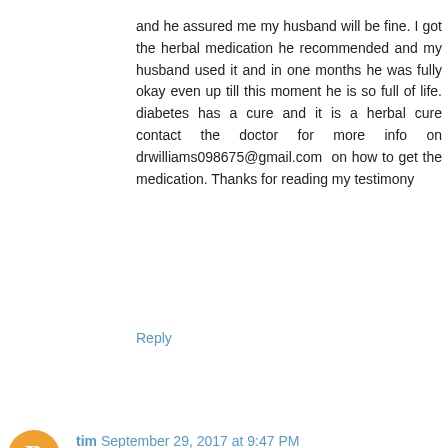and he assured me my husband will be fine. I got the herbal medication he recommended and my husband used it and in one months he was fully okay even up till this moment he is so full of life. diabetes has a cure and it is a herbal cure contact the doctor for more info on drwilliams098675@gmail.com on how to get the medication. Thanks for reading my testimony
Reply
tim  September 29, 2017 at 9:47 PM
Interesting perspective, though I'm not sure I agree. The pursuit of endurance sports, whether you qualify it as healthy, unhealthy, obsessive or otherwise, will always be a subjective thing. In other words, what one person deems healthy, the next may view as obsessive. A person who trains once a week - obsessive or not? Due to emotional baggage or not? What about 5 times a week? What about 10 hours a week? What about the person who races but doesn't train? I guess my point is, one can engage in a pursuit, even to the point of obsession, without there having to be emotional baggage as the cause. Excel in sport?